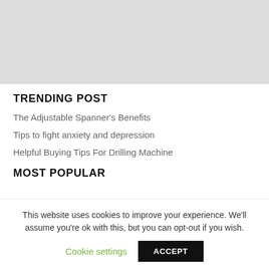[Figure (photo): Light grey placeholder rectangle at the top of the page]
TRENDING POST
The Adjustable Spanner's Benefits
Tips to fight anxiety and depression
Helpful Buying Tips For Drilling Machine
MOST POPULAR
[Figure (photo): Photo of an adjustable spanner/wrench on a dark surface]
This website uses cookies to improve your experience. We'll assume you're ok with this, but you can opt-out if you wish.
Cookie settings  ACCEPT